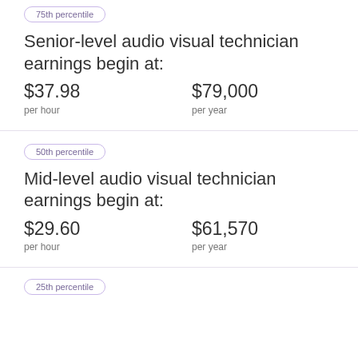75th percentile
Senior-level audio visual technician earnings begin at:
$37.98 per hour
$79,000 per year
50th percentile
Mid-level audio visual technician earnings begin at:
$29.60 per hour
$61,570 per year
25th percentile